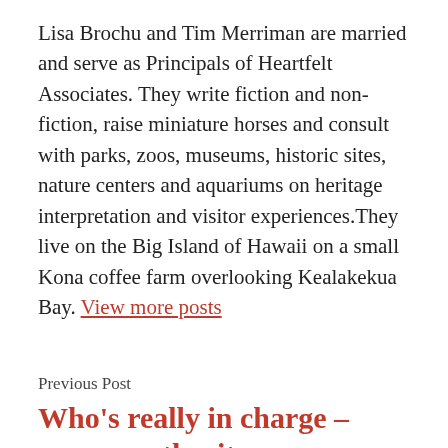Lisa Brochu and Tim Merriman are married and serve as Principals of Heartfelt Associates. They write fiction and non-fiction, raise miniature horses and consult with parks, zoos, museums, historic sites, nature centers and aquariums on heritage interpretation and visitor experiences.They live on the Big Island of Hawaii on a small Kona coffee farm overlooking Kealakekua Bay. View more posts
Previous Post
Who's really in charge – power, authority, or influence?